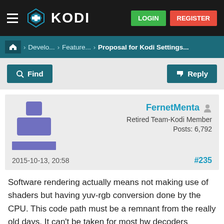[Figure (screenshot): Kodi forum page screenshot showing navigation bar with Kodi logo, LOGIN and REGISTER buttons, breadcrumb trail, Find/Reply action buttons, a forum post by FernetMenta (Retired Team-Kodi Member, Posts: 6,792) dated 2015-10-13 20:58, post #235]
KODI — LOGIN / REGISTER
Home > Develo... > Feature... > Proposal for Kodi Settings...
FernetMenta
Retired Team-Kodi Member
Posts: 6,792
2015-10-13, 20:58
#235
Software rendering actually means not making use of shaders but having yuv-rgb conversion done by the CPU. This code path must be a remnant from the really old days. It can't be taken for most hw decoders because they don't allow getting data back from GPU to system memory. Consider this path as dead and deleted.